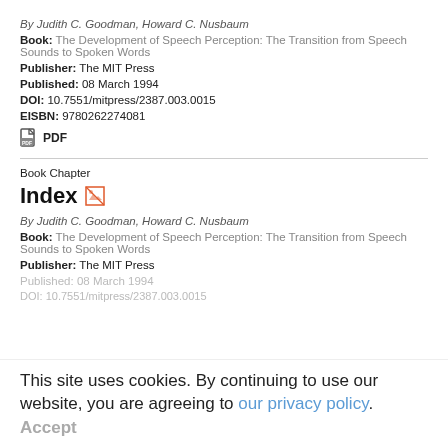By Judith C. Goodman, Howard C. Nusbaum
Book: The Development of Speech Perception: The Transition from Speech Sounds to Spoken Words
Publisher: The MIT Press
Published: 08 March 1994
DOI: 10.7551/mitpress/2387.003.0015
EISBN: 9780262274081
[Figure (other): PDF icon link]
Book Chapter
Index
By Judith C. Goodman, Howard C. Nusbaum
Book: The Development of Speech Perception: The Transition from Speech Sounds to Spoken Words
Publisher: The MIT Press
Published: 08 March 1994
DOI: 10.7551/mitpress/2387.003.0015
This site uses cookies. By continuing to use our website, you are agreeing to our privacy policy. Accept